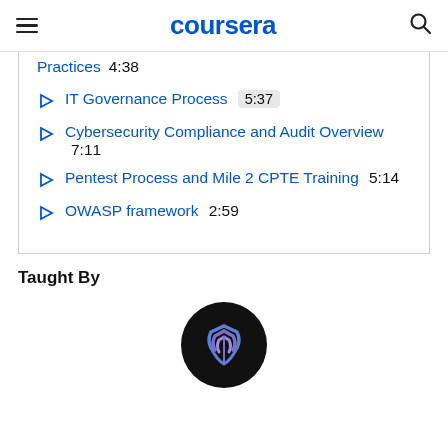coursera
Practices  4:38
IT Governance Process  5:37
Cybersecurity Compliance and Audit Overview  7:11
Pentest Process and Mile 2 CPTE Training  5:14
OWASP framework  2:59
Taught By
[Figure (logo): Circular dark logo with a stylized shield/layers icon in blue and purple tones]